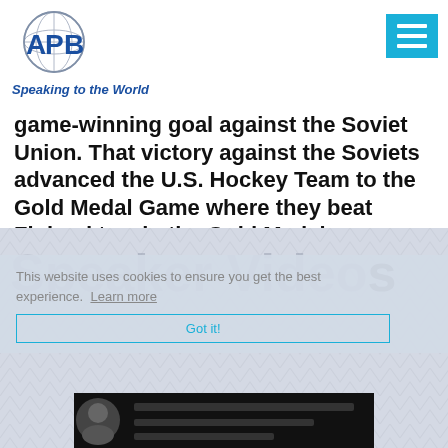[Figure (logo): APB logo with globe and blue letters, tagline 'Speaking to the World' in blue italic below]
[Figure (other): Cyan/teal hamburger menu icon (three white horizontal lines on cyan background)]
game-winning goal against the Soviet Union. That victory against the Soviets advanced the U.S. Hockey Team to the Gold Medal Game where they beat Finland to win the Gold Medal.
READ MORE >
This website uses cookies to ensure you get the best experience.  Learn more
Speaker Videos
Got it!
[Figure (photo): Dark bottom bar with partial image of person, appears to be a speaker video thumbnail]